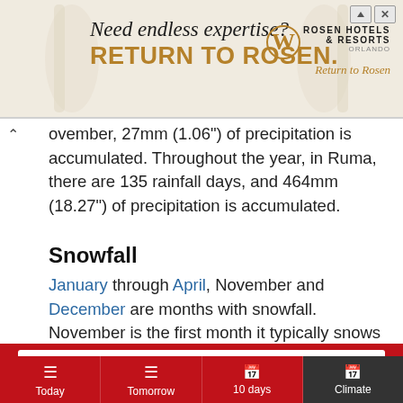[Figure (other): Advertisement banner for Rosen Hotels & Resorts Orlando. Text reads 'Need endless expertise? RETURN TO ROSEN.' with Rosen Hotels & Resorts logo and tagline 'Return to Rosen']
ovember, 27mm (1.06") of precipitation is accumulated. Throughout the year, in Ruma, there are 135 rainfall days, and 464mm (18.27") of precipitation is accumulated.
Snowfall
January through April, November and December are months with snowfall. November is the first month it typically snows in Ruma. Throughout November, in
November
Today
Tomorrow
10 days
Climate